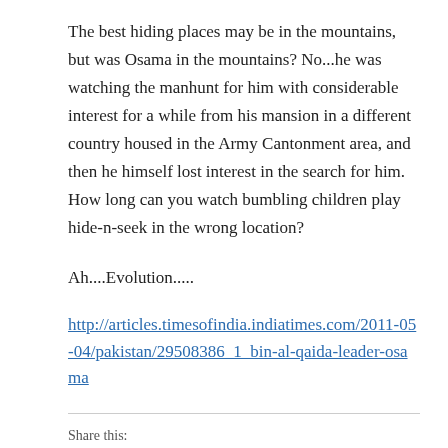The best hiding places may be in the mountains, but was Osama in the mountains? No...he was watching the manhunt for him with considerable interest for a while from his mansion in a different country housed in the Army Cantonment area, and then he himself lost interest in the search for him. How long can you watch bumbling children play hide-n-seek in the wrong location?
Ah....Evolution.....
http://articles.timesofindia.indiatimes.com/2011-05-04/pakistan/29508386_1_bin-al-qaida-leader-osama
Share this: